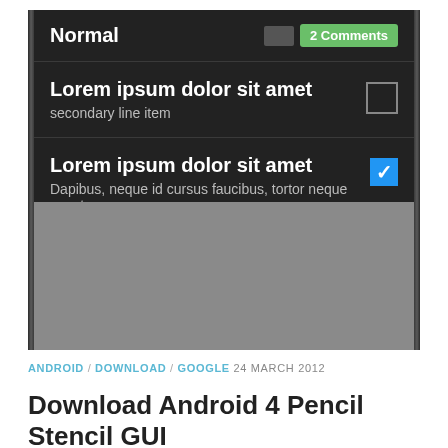[Figure (screenshot): Android phone screenshot showing a dark-themed list UI with 'Normal' header, two list items with Lorem ipsum text, checkboxes (empty and checked), a green '2 Comments' badge, and a gray area at the bottom.]
ANDROID / DOWNLOAD / GOOGLE  24 MARCH 2012
Download Android 4 Pencil Stencil GUI